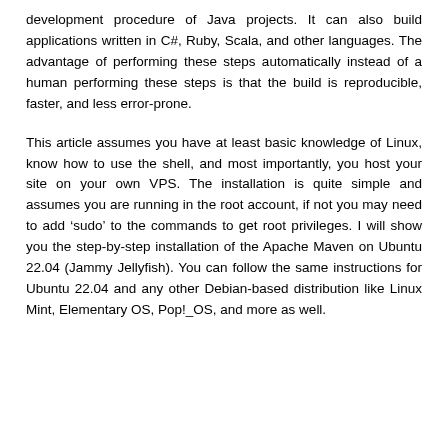development procedure of Java projects. It can also build applications written in C#, Ruby, Scala, and other languages. The advantage of performing these steps automatically instead of a human performing these steps is that the build is reproducible, faster, and less error-prone.
This article assumes you have at least basic knowledge of Linux, know how to use the shell, and most importantly, you host your site on your own VPS. The installation is quite simple and assumes you are running in the root account, if not you may need to add 'sudo' to the commands to get root privileges. I will show you the step-by-step installation of the Apache Maven on Ubuntu 22.04 (Jammy Jellyfish). You can follow the same instructions for Ubuntu 22.04 and any other Debian-based distribution like Linux Mint, Elementary OS, Pop!_OS, and more as well.